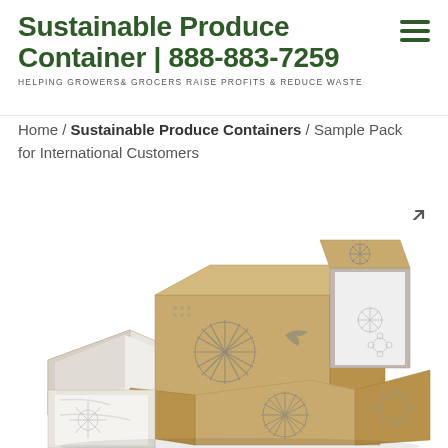Sustainable Produce Container | 888-883-7259
HELPING GROWERS & GROCERS RAISE PROFITS & REDUCE WASTE
Home / Sustainable Produce Containers / Sample Pack for International Customers
[Figure (photo): Stack of kraft cardboard produce containers with cut-out decorative patterns including sunbursts and floral designs. Some boxes are open, showing white interior lining.]